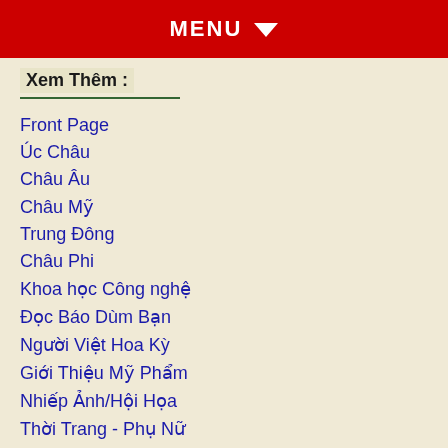MENU
Xem Thêm :
Front Page
Úc Châu
Châu Âu
Châu Mỹ
Trung Đông
Châu Phi
Khoa học Công nghệ
Đọc Báo Dùm Bạn
Người Việt Hoa Kỳ
Giới Thiệu Mỹ Phẩm
Nhiếp Ảnh/Hội Họa
Thời Trang - Phụ Nữ